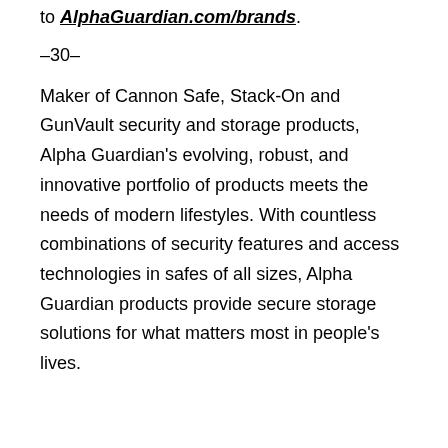to AlphaGuardian.com/brands.
–30–
Maker of Cannon Safe, Stack-On and GunVault security and storage products, Alpha Guardian's evolving, robust, and innovative portfolio of products meets the needs of modern lifestyles. With countless combinations of security features and access technologies in safes of all sizes, Alpha Guardian products provide secure storage solutions for what matters most in people's lives.